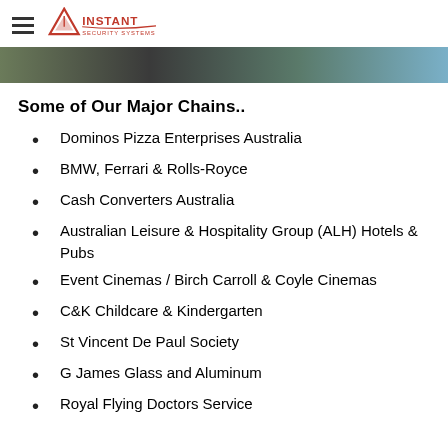Instant Security Systems
Some of Our Major Chains..
Dominos Pizza Enterprises Australia
BMW, Ferrari & Rolls-Royce
Cash Converters Australia
Australian Leisure & Hospitality Group (ALH) Hotels & Pubs
Event Cinemas / Birch Carroll & Coyle Cinemas
C&K Childcare & Kindergarten
St Vincent De Paul Society
G James Glass and Aluminum
Royal Flying Doctors Service